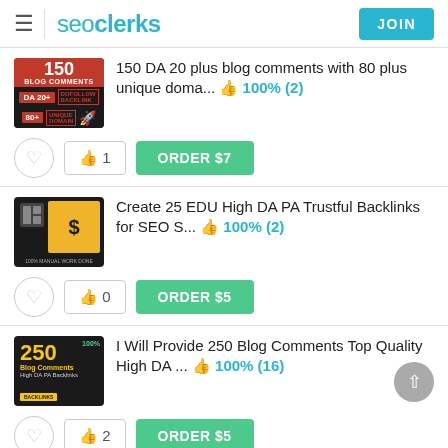seoclerks  JOIN
[Figure (screenshot): Thumbnail for 150 blog comments listing - red and black design with '150 BLOG COMMENTS DA 20+ 80+ UNIQUE DOMAIN']
150 DA 20 plus blog comments with 80 plus unique doma...  👍 100% (2)
❤ | 👍 1 | ORDER $7
[Figure (screenshot): Thumbnail for Create 25 EDU High DA PA Trustful Backlinks - gold and black design]
Create 25 EDU High DA PA Trustful Backlinks for SEO S...  👍 100% (2)
❤ | 👍 0 | ORDER $5
[Figure (screenshot): Thumbnail for 250 Blog Comments High DA PA Backlinks - dark background with gold text]
I Will Provide 250 Blog Comments Top Quality High DA ...  👍 100% (16)
❤ | 👍 2 | ORDER $5
[Figure (screenshot): Thumbnail for Create 200 Backlinks Do-Follow listing (partially visible)]
Create 200 Backlinks Do-Follow...